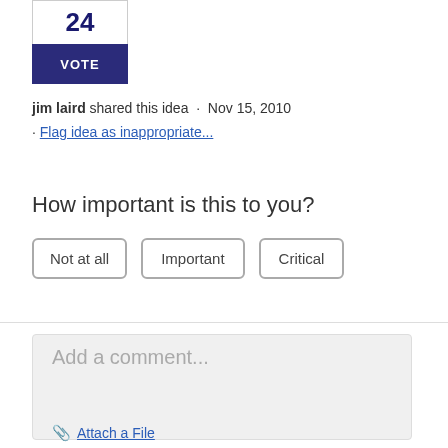24
VOTE
jim laird shared this idea · Nov 15, 2010
· Flag idea as inappropriate...
How important is this to you?
Not at all
Important
Critical
Add a comment...
Attach a File